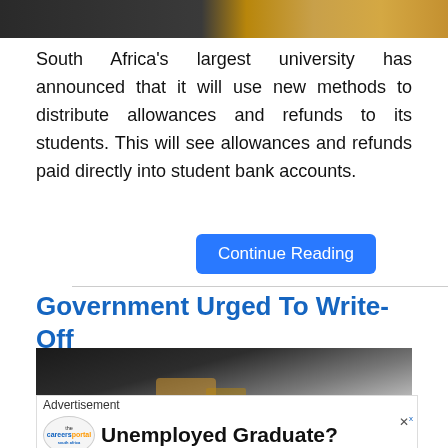[Figure (photo): Top portion of a photo showing people, partially cropped — dark tones on left, warm golden/amber tones on right]
South Africa's largest university has announced that it will use new methods to distribute allowances and refunds to its students. This will see allowances and refunds paid directly into student bank accounts.
Continue Reading
Government Urged To Write-Off Student Debt
[Figure (photo): Close-up photo of hands, dark clothing on left, lighter tones on right, possibly a handshake or document signing scene]
Advertisement
Unemployed Graduate?